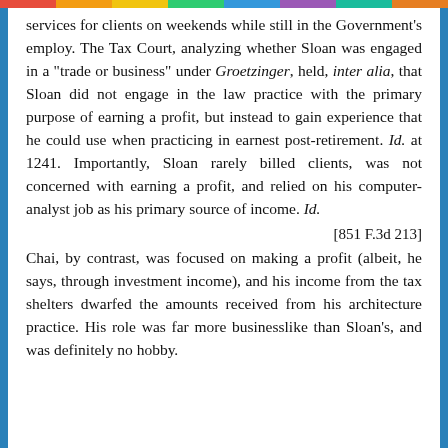services for clients on weekends while still in the Government's employ. The Tax Court, analyzing whether Sloan was engaged in a "trade or business" under Groetzinger, held, inter alia, that Sloan did not engage in the law practice with the primary purpose of earning a profit, but instead to gain experience that he could use when practicing in earnest post-retirement. Id. at 1241. Importantly, Sloan rarely billed clients, was not concerned with earning a profit, and relied on his computer-analyst job as his primary source of income. Id.
[851 F.3d 213]
Chai, by contrast, was focused on making a profit (albeit, he says, through investment income), and his income from the tax shelters dwarfed the amounts received from his architecture practice. His role was far more businesslike than Sloan's, and was definitely no hobby.